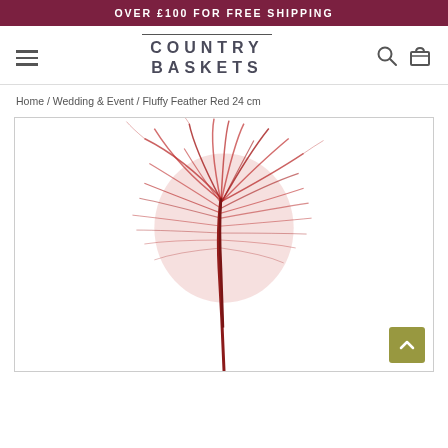OVER £100 FOR FREE SHIPPING
[Figure (logo): Country Baskets logo with horizontal rule above, text in two lines: COUNTRY BASKETS]
Home / Wedding & Event / Fluffy Feather Red 24 cm
[Figure (photo): A fluffy red ostrich feather on a white background, approximately 24 cm tall]